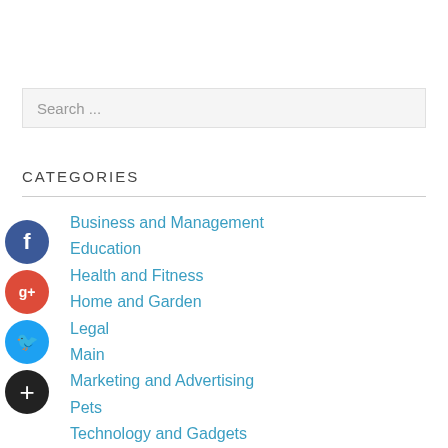Search ...
CATEGORIES
Business and Management
Education
Health and Fitness
Home and Garden
Legal
Main
Marketing and Advertising
Pets
Technology and Gadgets
Travel and Leisure